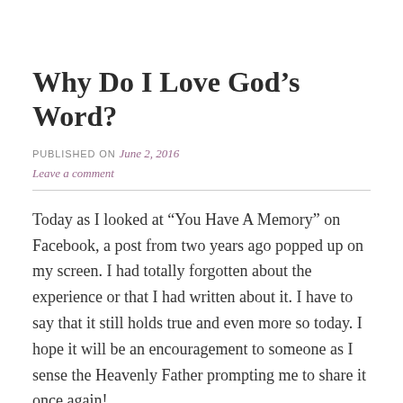Why Do I Love God’s Word?
PUBLISHED ON June 2, 2016
Leave a comment
Today as I looked at “You Have A Memory” on Facebook, a post from two years ago popped up on my screen. I had totally forgotten about the experience or that I had written about it. I have to say that it still holds true and even more so today. I hope it will be an encouragement to someone as I sense the Heavenly Father prompting me to share it once again!